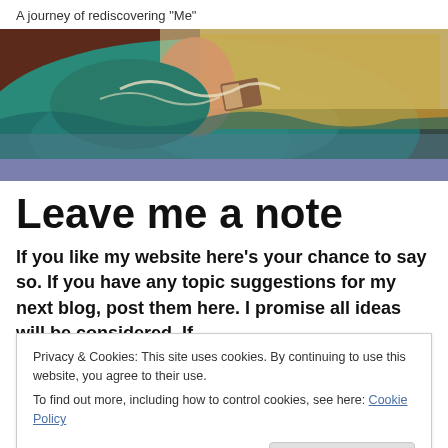A journey of rediscovering "Me"
[Figure (photo): Painting of a woman in teal/green dress reclining and reading a book, with an ornate gold and white patterned background]
Leave me a note
If you like my website here's your chance to say so. If you have any topic suggestions for my next blog, post them here. I promise all ideas will be considered. If
Privacy & Cookies: This site uses cookies. By continuing to use this website, you agree to their use.
To find out more, including how to control cookies, see here: Cookie Policy
Close and accept